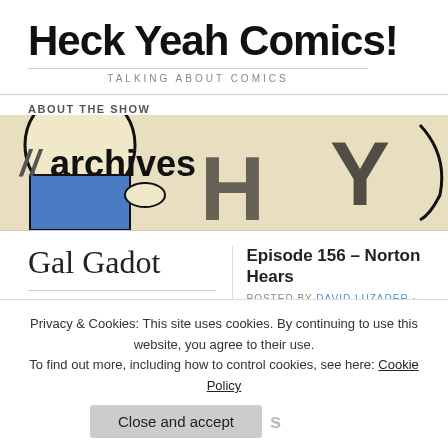Heck Yeah Comics!
TALKING ABOUT COMICS
ABOUT THE SHOW
[Figure (illustration): Comic-style banner image showing cartoon characters with 'archives' text overlay]
Gal Gadot
This tag is associated with
Episode 156 – Norton Hears
POSTED BY DAVID LUZADER · MARCH 14, 2018
Welcome to another episode of the Heck this episode, the Kriston Wiig joins Wor
Privacy & Cookies: This site uses cookies. By continuing to use this website, you agree to their use.
To find out more, including how to control cookies, see here: Cookie Policy
Close and accept